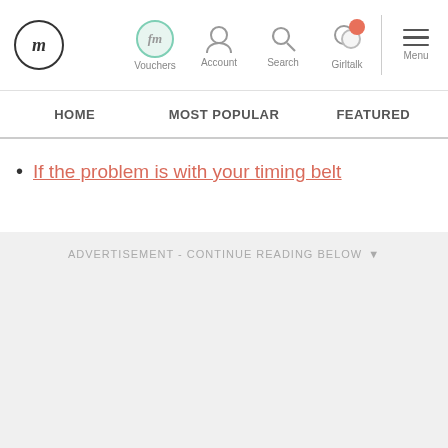fm logo | Vouchers | Account | Search | Girltalk | Menu
HOME | MOST POPULAR | FEATURED
If the problem is with your timing belt
ADVERTISEMENT - CONTINUE READING BELOW